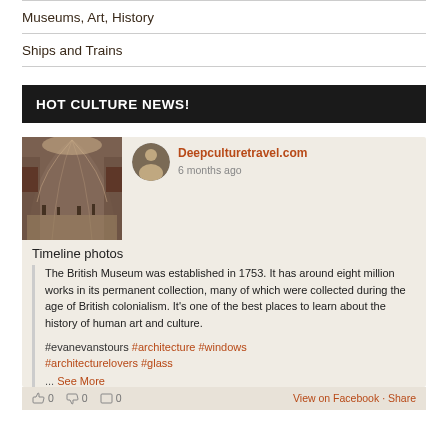Museums, Art, History
Ships and Trains
HOT CULTURE NEWS!
[Figure (photo): Interior of a large museum hall with arched ceiling and visitors below]
Deepculturetravel.com
6 months ago
Timeline photos
The British Museum was established in 1753. It has around eight million works in its permanent collection, many of which were collected during the age of British colonialism. It’s one of the best places to learn about the history of human art and culture.
#evanevanstours #architecture #windows #architecturelovers #glass
... See More
0   0   0   View on Facebook · Share